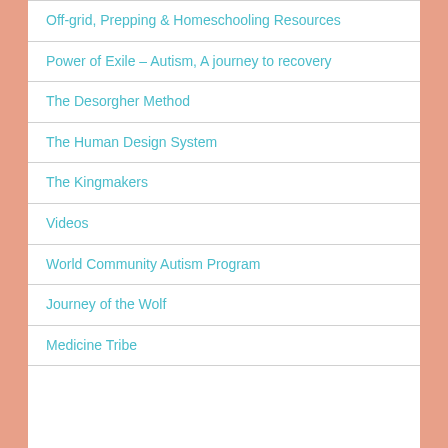Off-grid, Prepping & Homeschooling Resources
Power of Exile – Autism, A journey to recovery
The Desorgher Method
The Human Design System
The Kingmakers
Videos
World Community Autism Program
Journey of the Wolf
Medicine Tribe